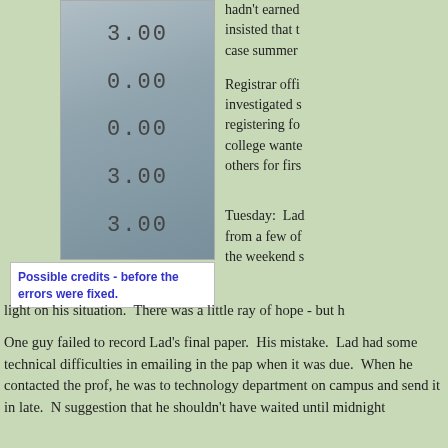[Figure (photo): A blurred/grainy photo of a printed document showing credit values: 3.00, 0.00, 0.00, 3.00, 3.00]
Possible credits - before the errors were fixed.
hadn't earned insisted that t case summer
Registrar offic investigated s registering fo college wante others for firs
Tuesday: Lad from a few of the weekend s light on his situation. There was a little ray of hope - but h
One guy failed to record Lad's final paper. His mistake. Lad had some technical difficulties in emailing in the pap when it was due. When he contacted the prof, he was to technology department on campus and send it in late. N suggestion that he shouldn't have waited until midnight